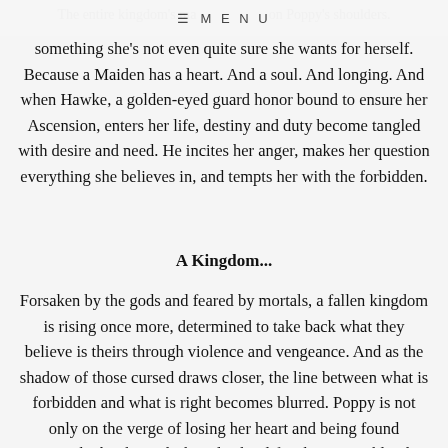≡ MENU
The entire kingdom's ma... on Poppy's shoulders. something she's not even quite sure she wants for herself. Because a Maiden has a heart. And a soul. And longing. And when Hawke, a golden-eyed guard honor bound to ensure her Ascension, enters her life, destiny and duty become tangled with desire and need. He incites her anger, makes her question everything she believes in, and tempts her with the forbidden.
A Kingdom...
Forsaken by the gods and feared by mortals, a fallen kingdom is rising once more, determined to take back what they believe is theirs through violence and vengeance. And as the shadow of those cursed draws closer, the line between what is forbidden and what is right becomes blurred. Poppy is not only on the verge of losing her heart and being found unworthy by the gods, but also her life when every blood-soaked thread that holds her world together begins to unravel.